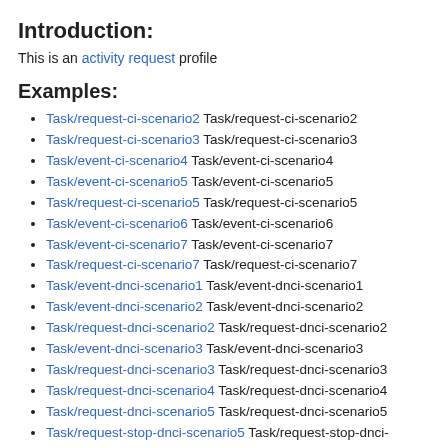Introduction:
This is an activity request profile
Examples:
Task/request-ci-scenario2 Task/request-ci-scenario2
Task/request-ci-scenario3 Task/request-ci-scenario3
Task/event-ci-scenario4 Task/event-ci-scenario4
Task/event-ci-scenario5 Task/event-ci-scenario5
Task/request-ci-scenario5 Task/request-ci-scenario5
Task/event-ci-scenario6 Task/event-ci-scenario6
Task/event-ci-scenario7 Task/event-ci-scenario7
Task/request-ci-scenario7 Task/request-ci-scenario7
Task/event-dnci-scenario1 Task/event-dnci-scenario1
Task/event-dnci-scenario2 Task/event-dnci-scenario2
Task/request-dnci-scenario2 Task/request-dnci-scenario2
Task/event-dnci-scenario3 Task/event-dnci-scenario3
Task/request-dnci-scenario3 Task/request-dnci-scenario3
Task/request-dnci-scenario4 Task/request-dnci-scenario4
Task/request-dnci-scenario5 Task/request-dnci-scenario5
Task/request-stop-dnci-scenario5 Task/request-stop-dnci-scenario5